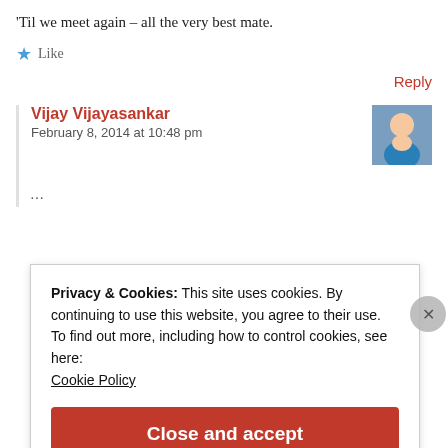'Til we meet again – all the very best mate.
★ Like
Reply
Vijay Vijayasankar
February 8, 2014 at 10:48 pm
[Figure (photo): Avatar photo of Vijay Vijayasankar, a man in a blue shirt]
Privacy & Cookies: This site uses cookies. By continuing to use this website, you agree to their use.
To find out more, including how to control cookies, see here:
Cookie Policy
Close and accept